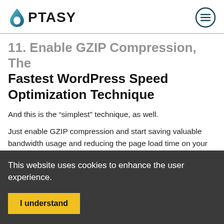OPTASY
11. Enable GZIP Compression, The Fastest WordPress Speed Optimization Technique
And this is the “simplest” technique, as well.
Just enable GZIP compression and start saving valuable bandwidth usage and reducing the page load time on your WordPress site.
This website uses cookies to enhance the user experience.